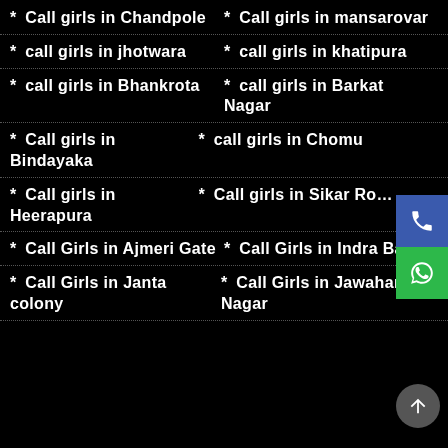* Call girls in Chandpole
* Call girls in mansarovar
* call girls in jhotwara
* call girls in khatipura
* call girls in Bhankrota
* call girls in Barkat Nagar
* Call girls in Bindayaka
* call girls in Chomu
* Call girls in Heerapura
* Call girls in Sikar Road
* Call Girls in Ajmeri Gate
* Call Girls in Indra Bazar
* Call Girls in Janta colony
* Call Girls in Jawahar Nagar